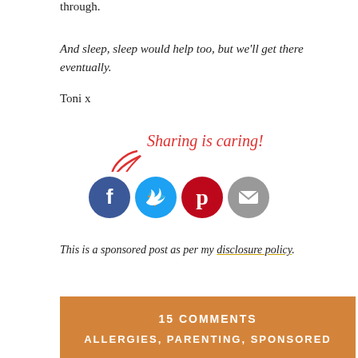through.
And sleep, sleep would help too, but we'll get there eventually.
Toni x
[Figure (infographic): Sharing is caring! social sharing buttons with curved arrow: Facebook, Twitter, Pinterest, Email icons]
This is a sponsored post as per my disclosure policy.
15 COMMENTS
ALLERGIES, PARENTING, SPONSORED